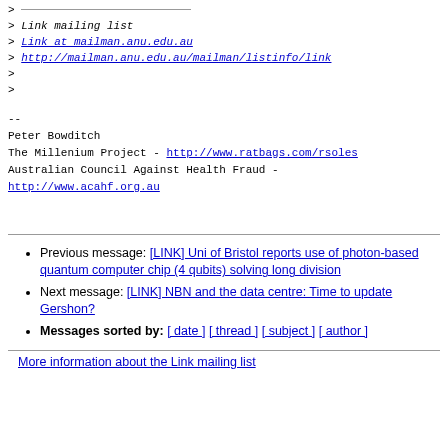> Link mailing list
> Link at mailman.anu.edu.au
> http://mailman.anu.edu.au/mailman/listinfo/link
>
>
--
Peter Bowditch
The Millenium Project - http://www.ratbags.com/rsoles
Australian Council Against Health Fraud -
http://www.acahf.org.au
Previous message: [LINK] Uni of Bristol reports use of photon-based quantum computer chip (4 qubits) solving long division
Next message: [LINK] NBN and the data centre: Time to update Gershon?
Messages sorted by: [ date ] [ thread ] [ subject ] [ author ]
More information about the Link mailing list